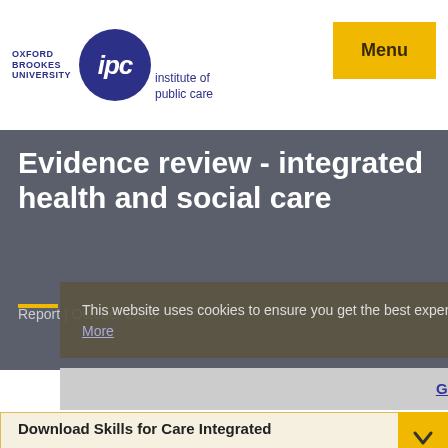[Figure (logo): Oxford Brookes University and Institute of Public Care (IPC) logo with circular blue IPC emblem and text]
[Figure (other): Yellow Menu button in top right corner]
Evidence review - integrated health and social care
Report | October 2013
This website uses cookies to ensure you get the best experience on our website. Learn More
Got it!
Download Skills for Care Integrated